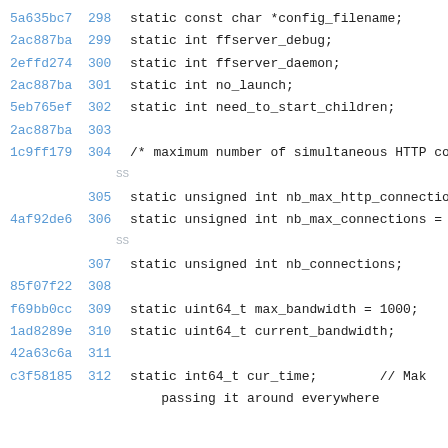5a635bc7 298   static const char *config_filename;
2ac887ba 299   static int ffserver_debug;
2effd274 300   static int ffserver_daemon;
2ac887ba 301   static int no_launch;
5eb765ef 302   static int need_to_start_children;
2ac887ba 303
1c9ff179 304   /* maximum number of simultaneous HTTP co
SS
         305   static unsigned int nb_max_http_connectio
4af92de6 306   static unsigned int nb_max_connections =
SS
         307   static unsigned int nb_connections;
85f07f22 308
f69bb0cc 309   static uint64_t max_bandwidth = 1000;
1ad8289e 310   static uint64_t current_bandwidth;
42a63c6a 311
c3f58185 312   static int64_t cur_time;        // Mak
         passing it around everywhere